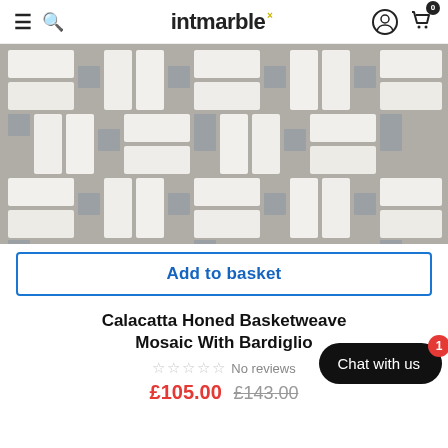intmarble
[Figure (photo): Calacatta Honed Basketweave marble mosaic tile with Bardiglio grey dot accents, white and grey basketweave pattern on mesh backing]
Add to basket
Calacatta Honed Basketweave Mosaic With Bardig...
No reviews
£105.00  £143.00